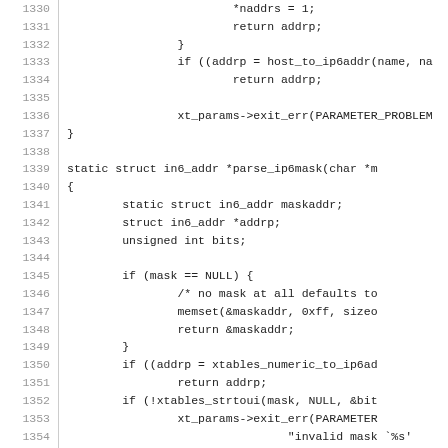[Figure (screenshot): Source code listing in monospace font showing C code for ip6mask parsing, lines 1330-1359. Line numbers shown in grey on the left separated by a vertical bar. Code is partially cut off on the right side.]